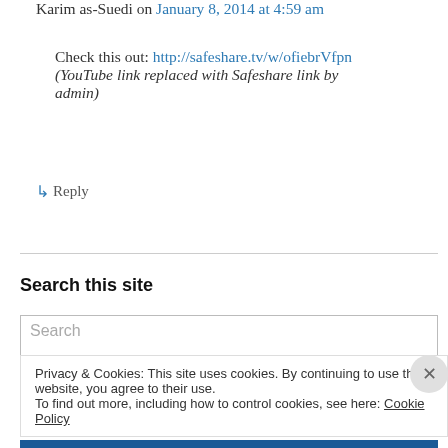Karim as-Suedi on January 8, 2014 at 4:59 am
Check this out: http://safeshare.tv/w/ofiebrVfpn
(YouTube link replaced with Safeshare link by admin)
↳ Reply
Search this site
Search
Privacy & Cookies: This site uses cookies. By continuing to use this website, you agree to their use.
To find out more, including how to control cookies, see here: Cookie Policy
Close and accept